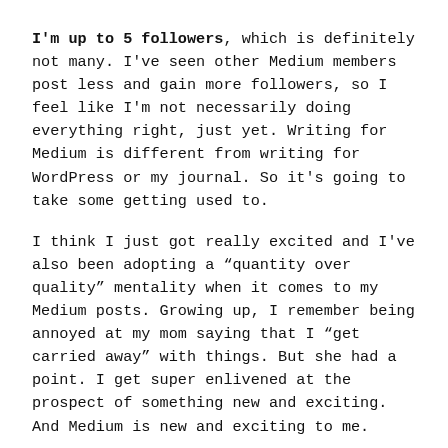I'm up to 5 followers, which is definitely not many. I've seen other Medium members post less and gain more followers, so I feel like I'm not necessarily doing everything right, just yet. Writing for Medium is different from writing for WordPress or my journal. So it's going to take some getting used to.
I think I just got really excited and I've also been adopting a "quantity over quality" mentality when it comes to my Medium posts. Growing up, I remember being annoyed at my mom saying that I "get carried away" with things. But she had a point. I get super enlivened at the prospect of something new and exciting. And Medium is new and exciting to me.
I think that can be both a great thing and somewhat of a pitfall. It gives me energy to